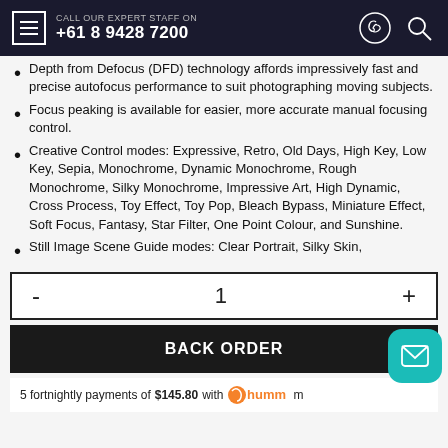CALL OUR EXPERT STAFF ON +61 8 9428 7200
Depth from Defocus (DFD) technology affords impressively fast and precise autofocus performance to suit photographing moving subjects.
Focus peaking is available for easier, more accurate manual focusing control.
Creative Control modes: Expressive, Retro, Old Days, High Key, Low Key, Sepia, Monochrome, Dynamic Monochrome, Rough Monochrome, Silky Monochrome, Impressive Art, High Dynamic, Cross Process, Toy Effect, Toy Pop, Bleach Bypass, Miniature Effect, Soft Focus, Fantasy, Star Filter, One Point Colour, and Sunshine.
Still Image Scene Guide modes: Clear Portrait, Silky Skin, Backlit Softness, Classic Backlight, Relaxing Tone, Sweet...
- 1 +
BACK ORDER
5 fortnightly payments of $145.80 with humm m...